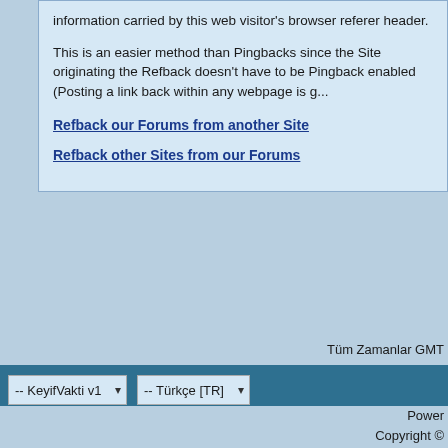information carried by this web visitor's browser referer header.
This is an easier method than Pingbacks since the Site originating the Refback doesn't have to be Pingback enabled (Posting a link back within any webpage is g...
Refback our Forums from another Site
Refback other Sites from our Forums
Tüm Zamanlar GMT
-- KeyifVakti v1   -- Türkçe [TR]
Power
Copyright ©